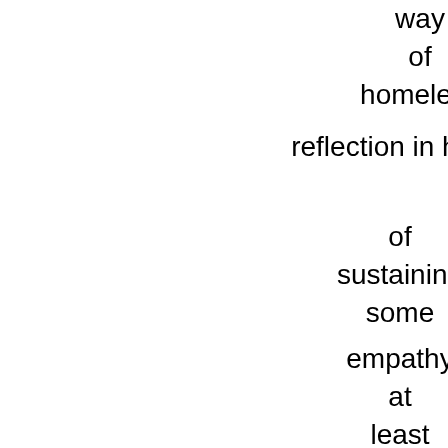way
of
homeless
reflection in hop
of
sustaining
some
empathy
at
least
yes
however